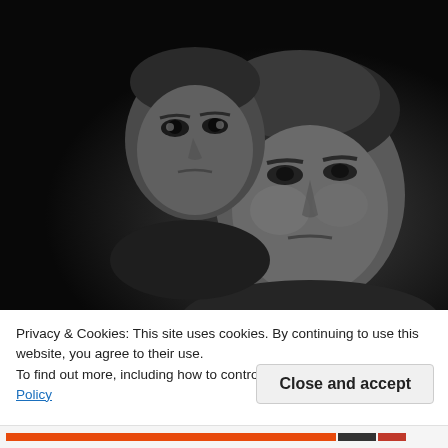[Figure (photo): Black and white dramatic portrait photo of two people: a child (upper left, with intense eyes staring forward) and an adult man (right, larger, with a serious expression), both against a dark background.]
Privacy & Cookies: This site uses cookies. By continuing to use this website, you agree to their use.
To find out more, including how to control cookies, see here: Cookie Policy
Close and accept